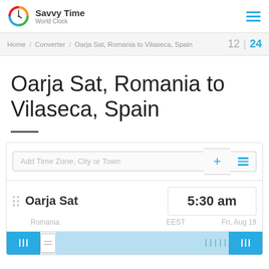Savvy Time World Clock
Home / Converter / Oarja Sat, Romania to Vilaseca, Spain  12 | 24
Oarja Sat, Romania to Vilaseca, Spain
Add Time Zone, City or Town
Oarja Sat  5:30 am  Romania  EEST  Fri, Aug 19